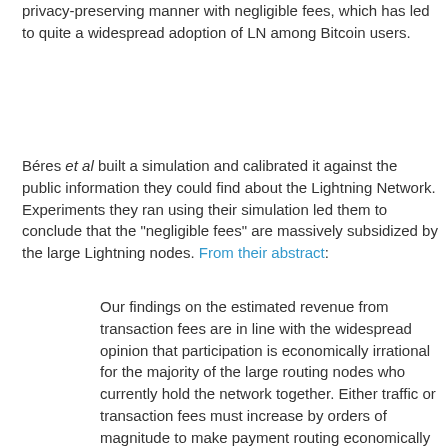privacy-preserving manner with negligible fees, which has led to quite a widespread adoption of LN among Bitcoin users.
Béres et al built a simulation and calibrated it against the public information they could find about the Lightning Network. Experiments they ran using their simulation led them to conclude that the "negligible fees" are massively subsidized by the large Lightning nodes. From their abstract:
Our findings on the estimated revenue from transaction fees are in line with the widespread opinion that participation is economically irrational for the majority of the large routing nodes who currently hold the network together. Either traffic or transaction fees must increase by orders of magnitude to make payment routing economically viable. We give worst-case estimates for the potential fee increase by assuming strong price competition among the routers. We also estimate how current channel structures and pricing policies respond to a potential increase in traffic, and show examples